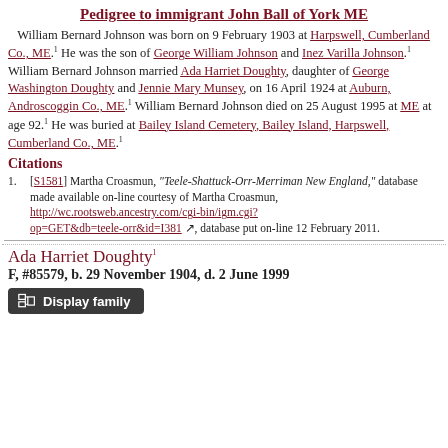Pedigree to immigrant John Ball of York ME
William Bernard Johnson was born on 9 February 1903 at Harpswell, Cumberland Co., ME.1 He was the son of George William Johnson and Inez Varilla Johnson.1 William Bernard Johnson married Ada Harriet Doughty, daughter of George Washington Doughty and Jennie Mary Munsey, on 16 April 1924 at Auburn, Androscoggin Co., ME.1 William Bernard Johnson died on 25 August 1995 at ME at age 92.1 He was buried at Bailey Island Cemetery, Bailey Island, Harpswell, Cumberland Co., ME.1
Citations
[S1581] Martha Croasmun, "Teele-Shattuck-Orr-Merriman New England," database made available on-line courtesy of Martha Croasmun, http://wc.rootsweb.ancestry.com/cgi-bin/igm.cgi?op=GET&db=teele-orr&id=I381, database put on-line 12 February 2011.
Ada Harriet Doughty1
F, #85579, b. 29 November 1904, d. 2 June 1999